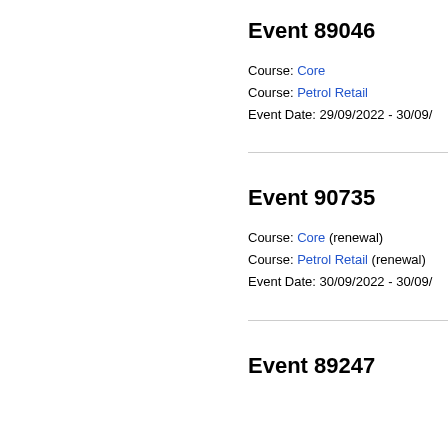Event 89046
Course: Core
Course: Petrol Retail
Event Date: 29/09/2022 - 30/09/
Event 90735
Course: Core (renewal)
Course: Petrol Retail (renewal)
Event Date: 30/09/2022 - 30/09/
Event 89247